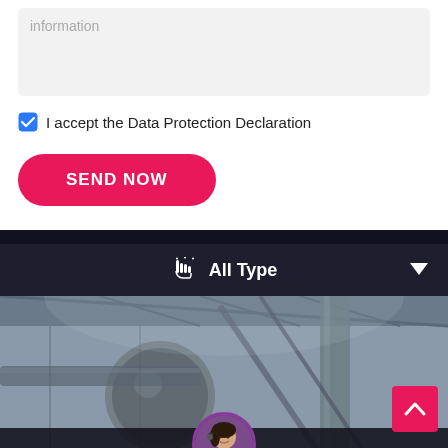information
I accept the Data Protection Declaration
[Figure (screenshot): SEND NOW button — rounded red/pink pill button with white bold text]
[Figure (screenshot): Filter bar with hand-cursor icon, 'All Type' label, and dropdown arrow on dark background]
[Figure (photo): Industrial facility interior with large pipes and steel structure]
[Figure (screenshot): Bottom chat bar with 'Leave Message' on left, female customer service avatar in center, 'Chat Online' on right]